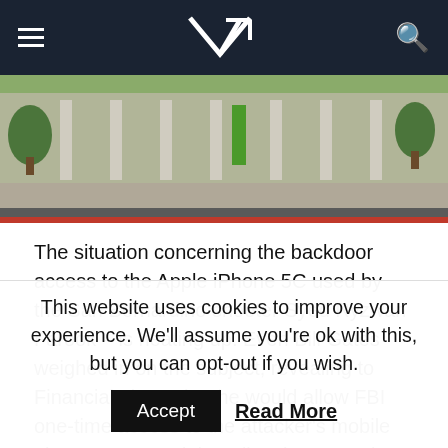VR website header with hamburger menu, VR logo, and search icon
[Figure (photo): Hero image of a building exterior with trees, road, and red curb]
The situation concerning the backdoor access to the Apple iPhone 5C used by the San Bernardino shooter Syed Ryzwan Farook – is heating up. Even Bill Gates weighed in on the subject, revealing to Financial Times that he would allow FBI one-time access to the attacker's mobile phone. He stated that all tech companies (including Apple) should comply with government requests for assistance pertaining to investigations regarding terrorist activity. In more areas than one, some agree with Gates. This would be a one time only access. It would allow the FBI to further investigate this
This website uses cookies to improve your experience. We'll assume you're ok with this, but you can opt-out if you wish.
Accept   Read More